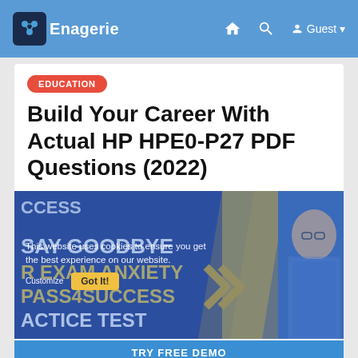ooEnagerie  [home icon]  [search icon]  Guest
EDUCATION
Build Your Career With Actual HP HPE0-P27 PDF Questions (2022)
[Figure (screenshot): Promotional banner image with blue background showing text: 'CCESS', 'SAY GOODBYE', 'R EXAM ANXIETY', 'PASS4SUCCESS', 'ACTICE TEST' with gold chevron arrows and a person wearing glasses and a plaid shirt. A cookie consent overlay reads 'This website uses cookies to ensure you get the best experience on our website.' with 'Got It!' button. Below: 'TRY FREE DEMO' button bar.]